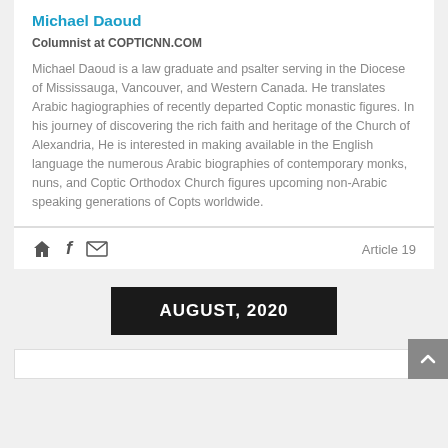Michael Daoud
Columnist at COPTICNN.COM
Michael Daoud is a law graduate and psalter serving in the Diocese of Mississauga, Vancouver, and Western Canada. He translates Arabic hagiographies of recently departed Coptic monastic figures. In his journey of discovering the rich faith and heritage of the Church of Alexandria, He is interested in making available in the English language the numerous Arabic biographies of contemporary monks, nuns, and Coptic Orthodox Church figures upcoming non-Arabic speaking generations of Copts worldwide.
Article 19
AUGUST, 2020